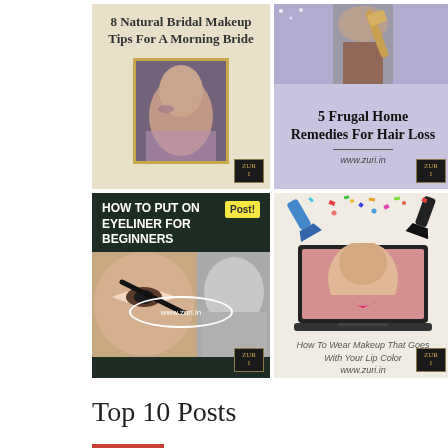[Figure (illustration): 2x2 grid of beauty/makeup blog post thumbnails: 1) '8 Natural Bridal Makeup Tips For A Morning Bride' on beige background with makeup photo, 2) '5 Frugal Home Remedies For Hair Loss' on lavender background with hair brushing photo, 3) 'How To Put On Eyeliner For Beginners' on dark green background with eyeliner application photo, 4) 'How To Wear Makeup That Goes With Your Lip Color' on light background with party theme and laptop showing woman]
Top 10 Posts
[Figure (photo): Thumbnail image for '60 Intricate Back Hand Mehndi Designs' post - shows mehndi/henna design on hand]
60 Intricate Back Hand Mehndi Designs